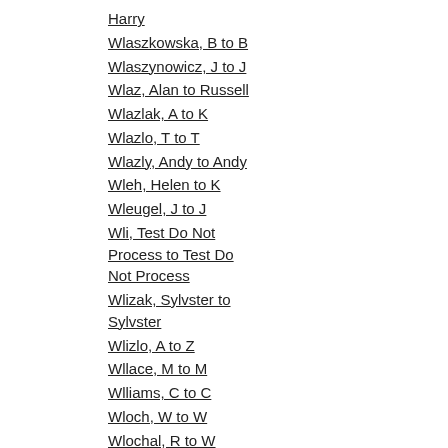Harry
Wlaszkowska, B to B
Wlaszynowicz, J to J
Wlaz, Alan to Russell
Wlazlak, A to K
Wlazlo, T to T
Wlazly, Andy to Andy
Wleh, Helen to K
Wleugel, J to J
Wli, Test Do Not Process to Test Do Not Process
Wlizak, Sylvster to Sylvster
Wlizlo, A to Z
Wllace, M to M
Wlliams, C to C
Wloch, W to W
Wlochal, R to W
Wlochowicz, C to P
Wlock, A to Vincent